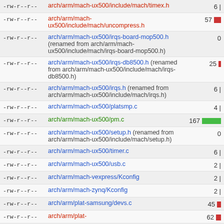-rw-r--r-- arch/arm/mach-ux500/include/mach/timex.h 6
-rw-r--r-- arch/arm/mach-ux500/include/mach/uncompress.h 57
-rw-r--r-- arch/arm/mach-ux500/irqs-board-mop500.h (renamed from arch/arm/mach-ux500/include/mach/irqs-board-mop500.h) 0
-rw-r--r-- arch/arm/mach-ux500/irqs-db8500.h (renamed from arch/arm/mach-ux500/include/mach/irqs-db8500.h) 25
-rw-r--r-- arch/arm/mach-ux500/irqs.h (renamed from arch/arm/mach-ux500/include/mach/irqs.h) 6
-rw-r--r-- arch/arm/mach-ux500/platsmp.c 4
-rw-r--r-- arch/arm/mach-ux500/pm.c 167
-rw-r--r-- arch/arm/mach-ux500/setup.h (renamed from arch/arm/mach-ux500/include/mach/setup.h) 0
-rw-r--r-- arch/arm/mach-ux500/timer.c 6
-rw-r--r-- arch/arm/mach-ux500/usb.c 2
-rw-r--r-- arch/arm/mach-vexpress/Kconfig 2
-rw-r--r-- arch/arm/mach-zynq/Kconfig 2
-rw-r--r-- arch/arm/plat-samsung/devs.c 45
-rw-r--r-- arch/arm/plat- 62